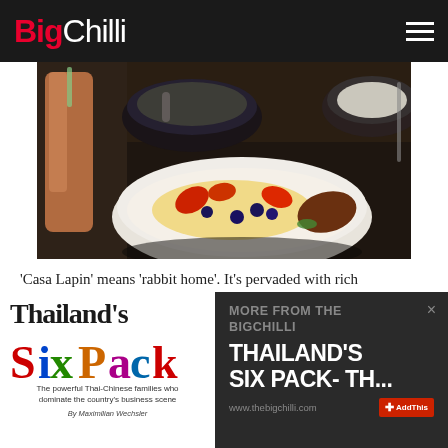BigChilli
[Figure (photo): Food photograph showing bowls of food on a dark table: a large bowl with fruit salad including strawberries and blueberries in cream, smaller dark bowls in the background, and a pink drink in a glass on the left.]
'Casa Lapin' means 'rabbit home'. It's pervaded with rich
[Figure (illustration): Book advertisement showing 'Thailand's Six Pack' book cover with colorful letters forming 'Six Pack' and subtitle 'The powerful Thai-Chinese families who dominate the country's business scene' by Maximilian Wechsler]
MORE FROM THE BIGCHILLI
THAILAND'S SIX PACK- TH...
www.thebigchilli.com
AddThis